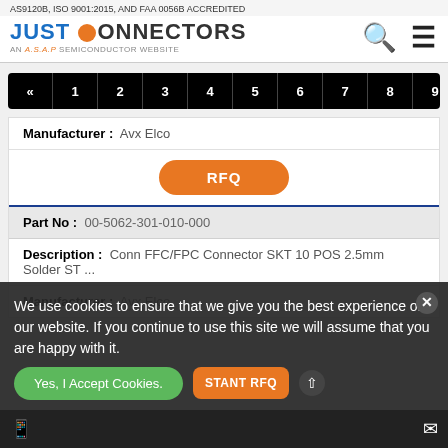AS9120B, ISO 9001:2015, AND FAA 0056B ACCREDITED
[Figure (logo): Just Connectors logo - An A.S.A.P Semiconductor Website]
« 1 2 3 4 5 6 7 8 9 10 »
| Manufacturer : | Avx Elco |
| RFQ |
| Part No : | 00-5062-301-010-000 |
| Description : | Conn FFC/FPC Connector SKT 10 POS 2.5mm Solder ST ... |
| Manufacturer : | Avx Elco |
We use cookies to ensure that we give you the best experience on our website. If you continue to use this site we will assume that you are happy with it.
Yes, I Accept Cookies.